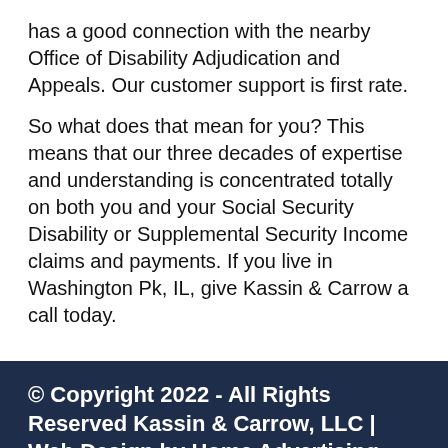has a good connection with the nearby Office of Disability Adjudication and Appeals. Our customer support is first rate.
So what does that mean for you? This means that our three decades of expertise and understanding is concentrated totally on both you and your Social Security Disability or Supplemental Security Income claims and payments. If you live in Washington Pk, IL, give Kassin & Carrow a call today.
© Copyright 2022 - All Rights Reserved Kassin & Carrow, LLC | Web Design by Home Advertising Inc.
Do not consider this information as legal advice or opinion, or guarantee of a particular outcome for a legal matter. This site provides general information that may or may not apply to your claim.
Do not substitute this information for competent legal counsel, or make legal decisions solely based upon the information provided on this site. You should consult an attorney before making any important decisions regarding any legal matter. The choice of a